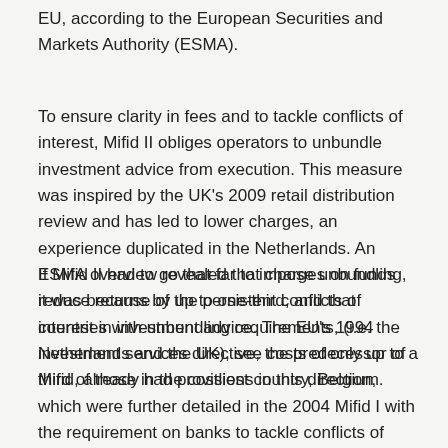EU, according to the European Securities and Markets Authority (ESMA).
To ensure clarity in fees and to tackle conflicts of interest, Mifid II obliges operators to unbundle investment advice from execution. This measure was inspired by the UK's 2009 retail distribution review and has led to lower charges, an experience duplicated in the Netherlands. An ESMA overview revealed that charges on funds reduce returns by up to one-third, and that countries with unbundling requirements, (i.e. the Netherlands and the UK), see costs of only up to a third of those in the costliest country, Belgium.
If Mifid II had to go that far to impose unbundling, it was because of the persistent conflicts of interest in investment advice. The EU's 1994 investment services directive, the predecessor of Mifid, already had provisions in this direction, which were further detailed in the 2004 Mifid I with the requirement on banks to tackle conflicts of interest — to no avail apparently. Unbundling will lower fees and encourage